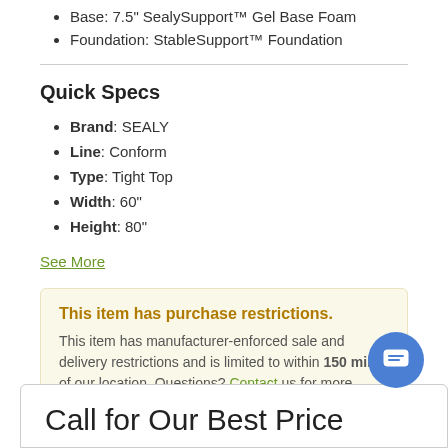Base: 7.5" SealySupport™ Gel Base Foam
Foundation: StableSupport™ Foundation
Quick Specs
Brand: SEALY
Line: Conform
Type: Tight Top
Width: 60"
Height: 80"
See More
This item has purchase restrictions. This item has manufacturer-enforced sale and delivery restrictions and is limited to within 150 miles of our location. Questions? Contact us for more information.
Call for Our Best Price